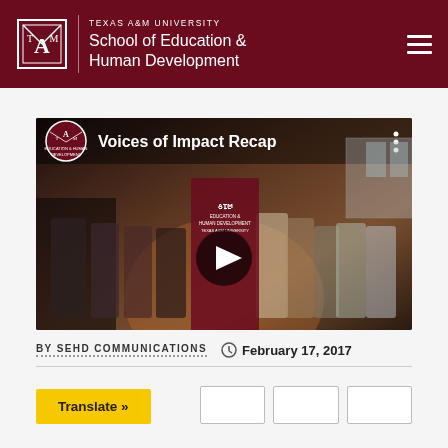TEXAS A&M UNIVERSITY School of Education & Human Development
[Figure (screenshot): Video thumbnail showing 'Voices of Impact Recap' with Texas A&M SEHD logo, group of people standing in front of SEHD banner, with a play button overlay]
BY SEHD COMMUNICATIONS  February 17, 2017
Translate »